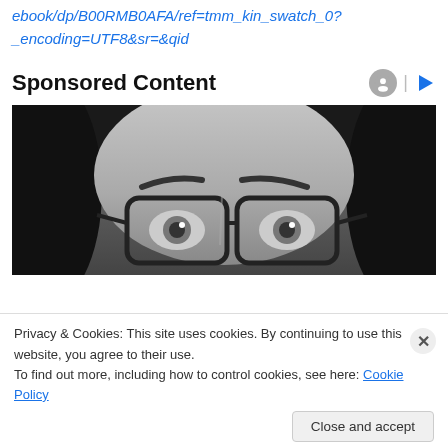ebook/dp/B00RMB0AFA/ref=tmm_kin_swatch_0?_encoding=UTF8&sr=&qid
Sponsored Content
[Figure (photo): Black and white close-up photo of a person with glasses, showing eyes and forehead area]
Privacy & Cookies: This site uses cookies. By continuing to use this website, you agree to their use.
To find out more, including how to control cookies, see here: Cookie Policy
Close and accept